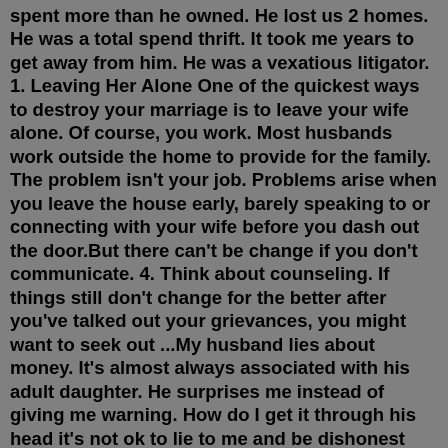spent more than he owned. He lost us 2 homes. He was a total spend thrift. It took me years to get away from him. He was a vexatious litigator. 1. Leaving Her Alone One of the quickest ways to destroy your marriage is to leave your wife alone. Of course, you work. Most husbands work outside the home to provide for the family. The problem isn't your job. Problems arise when you leave the house early, barely speaking to or connecting with your wife before you dash out the door.But there can't be change if you don't communicate. 4. Think about counseling. If things still don't change for the better after you've talked out your grievances, you might want to seek out ...My husband lies about money. It's almost always associated with his adult daughter. He surprises me instead of giving me warning. How do I get it through his head it's not ok to lie to me and be dishonest and disrespectful. He puts our bills and life second. I can't take it anymore and I'm not sure what to do. He owes me near $60k.My hunch is that there's some personal history here that's coloring how you